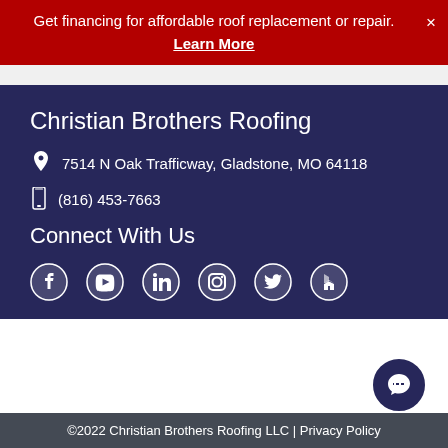Get financing for affordable roof replacement or repair. Learn More ×
Christian Brothers Roofing
7514 N Oak Trafficway, Gladstone, MO 64118
(816) 453-7663
Connect With Us
[Figure (other): Social media icons: Facebook, YouTube, LinkedIn, Instagram, Twitter, Houzz]
©2022 Christian Brothers Roofing LLC | Privacy Policy